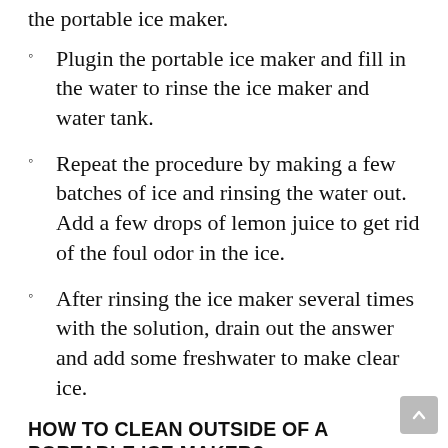the portable ice maker.
Plugin the portable ice maker and fill in the water to rinse the ice maker and water tank.
Repeat the procedure by making a few batches of ice and rinsing the water out. Add a few drops of lemon juice to get rid of the foul odor in the ice.
After rinsing the ice maker several times with the solution, drain out the answer and add some freshwater to make clear ice.
HOW TO CLEAN OUTSIDE OF A PORTABLE ICE MAKER?
If you carry your ice makers outdoors they could carry a lot of dust and germs, here's how